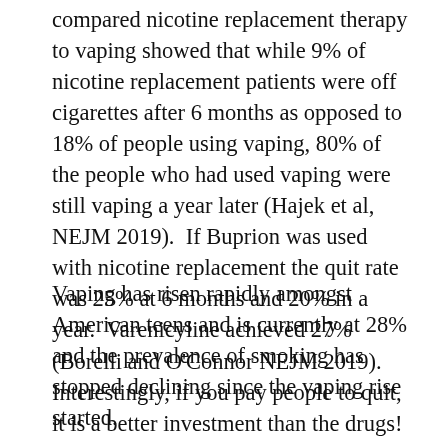compared nicotine replacement therapy to vaping showed that while 9% of nicotine replacement patients were off cigarettes after 6 months as opposed to 18% of people using vaping, 80% of the people who had used vaping were still vaping a year later (Hajek et al, NEJM 2019).  If Buprion was used with nicotine replacement the quit rate was 25% at 6 months and 20% in a year.  Varenicyline achieved 27% (Borelli and O'Connor NEJM 2019).  Interestingly, if you pay people to quit, it is a better investment than the drugs!
Vaping has risen rapidly amongst American teens and is currently at 28% and the prevalence of smoking has stopped declining since the vaping rise started.